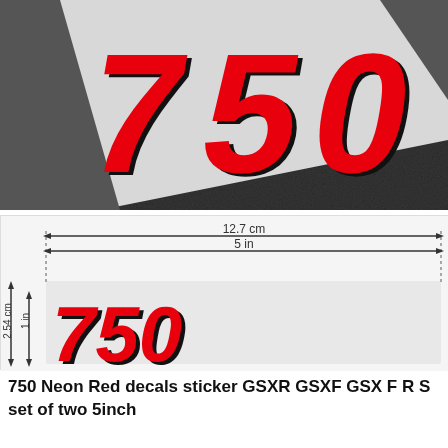[Figure (photo): Close-up photo of a red and black '750' motorcycle decal sticker on a dark glittery surface. The sticker has bold red numerals with black shadow/outline effect on a silver/white background strip, set against dark grey textured material.]
[Figure (engineering-diagram): Dimension diagram of the 750 decal sticker showing measurements: 12.7 cm / 5 in width (horizontal arrow spanning the sticker), and 2.54 cm / 1 in height (vertical arrow on the left side). The sticker shown is the red and black '750' decal on white background.]
750 Neon Red decals sticker GSXR GSXF GSX F R S set of two 5inch